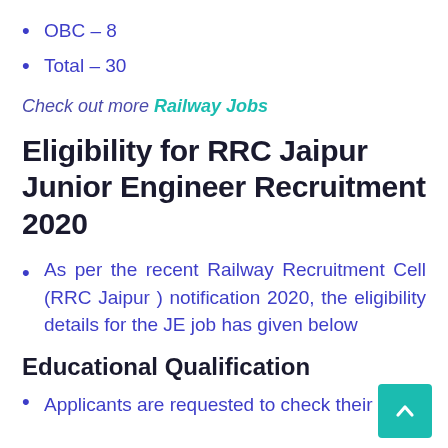OBC – 8
Total – 30
Check out more Railway Jobs
Eligibility for RRC Jaipur Junior Engineer Recruitment 2020
As per the recent Railway Recruitment Cell (RRC Jaipur ) notification 2020, the eligibility details for the JE job has given below
Educational Qualification
Applicants are requested to check their